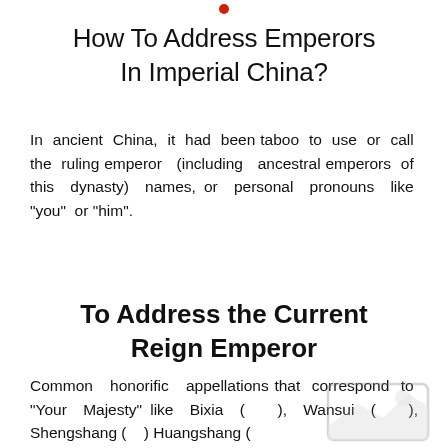How To Address Emperors In Imperial China?
In ancient China, it had been taboo to use or call the ruling emperor (including ancestral emperors of this dynasty) names, or personal pronouns like "you" or "him".
To Address the Current Reign Emperor
Common honorific appellations that correspond to "Your Majesty" like Bixia (　　), Wansui (　　), Shengshang (　　), Huangshang (